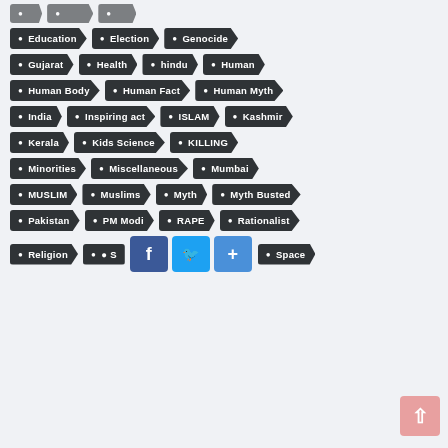Education
Election
Genocide
Gujarat
Health
hindu
Human
Human Body
Human Fact
Human Myth
India
Inspiring act
ISLAM
Kashmir
Kerala
Kids Science
KILLING
Minorities
Miscellaneous
Mumbai
MUSLIM
Muslims
Myth
Myth Busted
Pakistan
PM Modi
RAPE
Rationalist
Religion
S...
Space